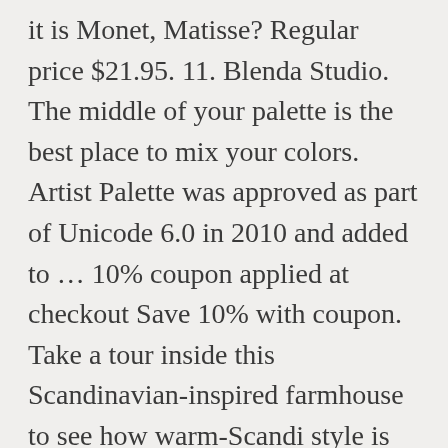it is Monet, Matisse? Regular price $21.95. 11. Blenda Studio. The middle of your palette is the best place to mix your colors. Artist Palette was approved as part of Unicode 6.0 in 2010 and added to ... 10% coupon applied at checkout Save 10% with coupon. Take a tour inside this Scandinavian-inspired farmhouse to see how warm-Scandi style is done. I find it best to cut it to the ground each fall, and it comes back stronger in the spring. We have painter's palette taking over our entire garden. The artist has his own unique style. Juan Bosco. Original: $45. Great for the classroom and home, these economically priced, white plastic pans are ideal for mixing and holding up to 2 oz. See screenshots, read the latest customer